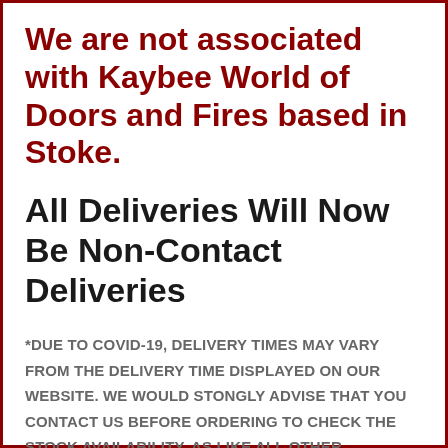We are not associated with Kaybee World of Doors and Fires based in Stoke.
All Deliveries Will Now Be Non-Contact Deliveries
*DUE TO COVID-19, DELIVERY TIMES MAY VARY FROM THE DELIVERY TIME DISPLAYED ON OUR WEBSITE. WE WOULD STONGLY ADVISE THAT YOU CONTACT US BEFORE ORDERING TO CHECK THE STOCK AVAILABILITY, AS LIKE ALL OTHER BUSINESSES OUR SUPPLIERS ARE FINDING IT HARD